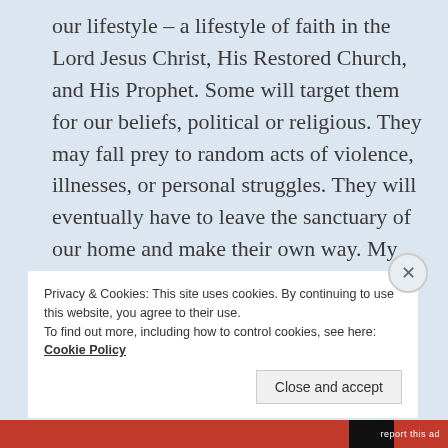our lifestyle – a lifestyle of faith in the Lord Jesus Christ, His Restored Church, and His Prophet. Some will target them for our beliefs, political or religious. They may fall prey to random acts of violence, illnesses, or personal struggles. They will eventually have to leave the sanctuary of our home and make their own way. My wife's chosen career will give them what the Stripling Warriors had. The strongest foundation in faith possible. It will be their best armor against all they will have to battle.
Privacy & Cookies: This site uses cookies. By continuing to use this website, you agree to their use.
To find out more, including how to control cookies, see here: Cookie Policy
Close and accept